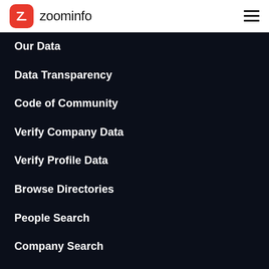[Figure (logo): ZoomInfo logo with red square Z icon and zoominfo wordmark]
Our Data
Data Transparency
Code of Community
Verify Company Data
Verify Profile Data
Browse Directories
People Search
Company Search
MORE RESOURCES
ZoomInfo Videos